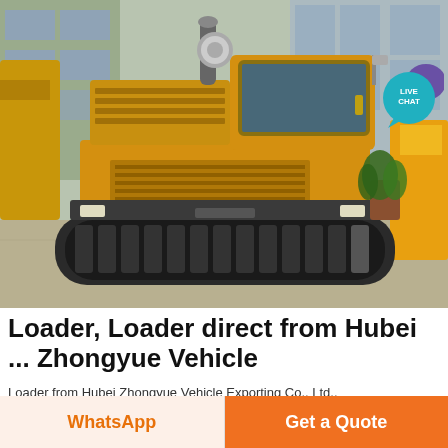[Figure (photo): Front view of a yellow tracked loader/dump vehicle parked outdoors. The machine has rubber tracks, a yellow cab with a glass door, yellow body panels with ventilation grilles, and headlights. A plant and building are visible in the background. A 'LIVE CHAT' badge appears in the upper right corner.]
Loader, Loader direct from Hubei ... Zhongyue Vehicle
Loader from Hubei Zhongyue Vehicle Exporting Co., Ltd..
Search High Quality Loader Manufacturing and Exporting
WhatsApp
Get a Quote